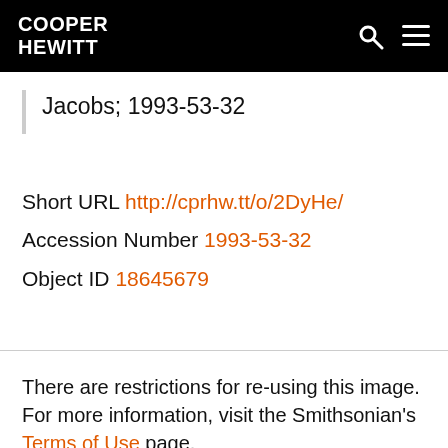COOPER HEWITT
Jacobs; 1993-53-32
Short URL http://cprhw.tt/o/2DyHe/
Accession Number 1993-53-32
Object ID 18645679
There are restrictions for re-using this image. For more information, visit the Smithsonian's Terms of Use page.